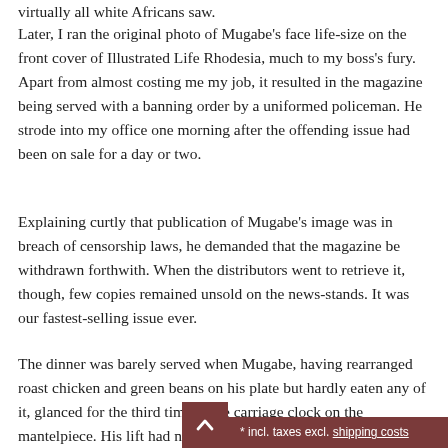virtually all white Africans saw.
Later, I ran the original photo of Mugabe's face life-size on the front cover of Illustrated Life Rhodesia, much to my boss's fury. Apart from almost costing me my job, it resulted in the magazine being served with a banning order by a uniformed policeman. He strode into my office one morning after the offending issue had been on sale for a day or two.
Explaining curtly that publication of Mugabe's image was in breach of censorship laws, he demanded that the magazine be withdrawn forthwith. When the distributors went to retrieve it, though, few copies remained unsold on the news-stands. It was our fastest-selling issue ever.
The dinner was barely served when Mugabe, having rearranged roast chicken and green beans on his plate but hardly eaten any of it, glanced for the third time at the carriage clock on the mantelpiece. His lift had not arrived. Seeing it was close to 9pm and that Ahrn could not drive, I realised Mugabe would miss his train if I did not take him downtown immediately.
* incl. taxes excl. shipping costs